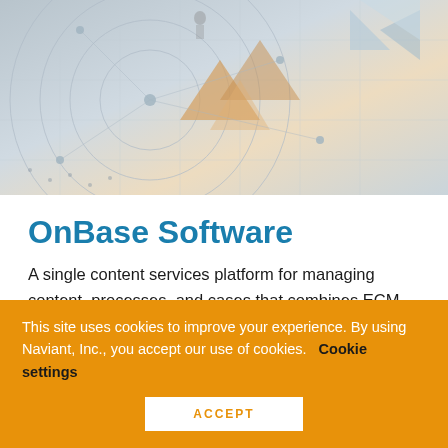[Figure (illustration): Hero background image showing abstract technology/network graphic with geometric shapes, circles, grid lines, and triangular elements in grey and gold tones]
OnBase Software
A single content services platform for managing content, processes, and cases that combines ECM, case management, BPM, records management, compliance, and capture capabilities on a single platform.
This site uses cookies to improve your experience. By using Naviant, Inc., you accept our use of cookies.  Cookie settings
ACCEPT